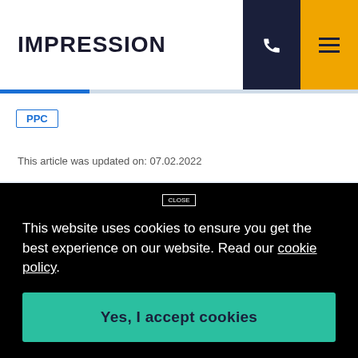IMPRESSION
PPC
This article was updated on: 07.02.2022
Automation is simply giving most of the control
This website uses cookies to ensure you get the best experience on our website. Read our cookie policy.
Yes, I accept cookies